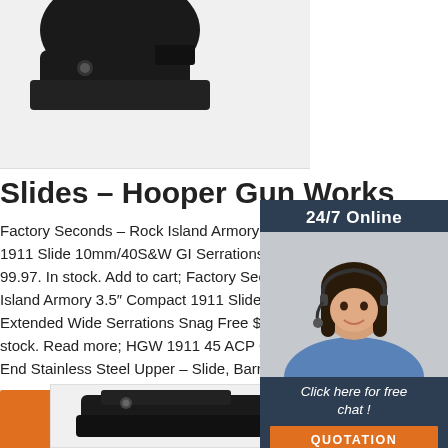[Figure (photo): Partial view of a gun slide/component, cropped at top edge]
Slides – Hooper Gun Works
Factory Seconds – Rock Island Armory 5" Fu... 1911 Slide 10mm/40S&W GI Serrations GI S... 99.97. In stock. Add to cart; Factory Seconds – Rock Island Armory 3.5" Compact 1911 Slide .45 A... Extended Wide Serrations Snag Free $ 99.9... stock. Read more; HGW 1911 45 ACP Comp... End Stainless Steel Upper – Slide, Barrel ...
[Figure (photo): Chat support widget showing woman with headset, '24/7 Online' header, 'Click here for free chat!' text, and QUOTATION button]
[Figure (other): Orange TOP button with arrow dots icon]
[Figure (photo): Partial view of a gun product at the bottom of the page, cropped]